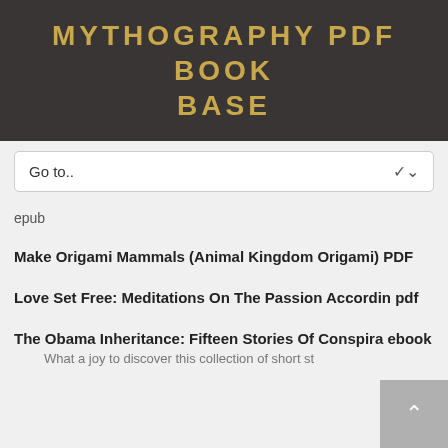MYTHOGRAPHY PDF BOOK BASE
Go to..
epub
Make Origami Mammals (Animal Kingdom Origami) PDF
Love Set Free: Meditations On The Passion Accordin pdf
The Obama Inheritance: Fifteen Stories Of Conspira ebook